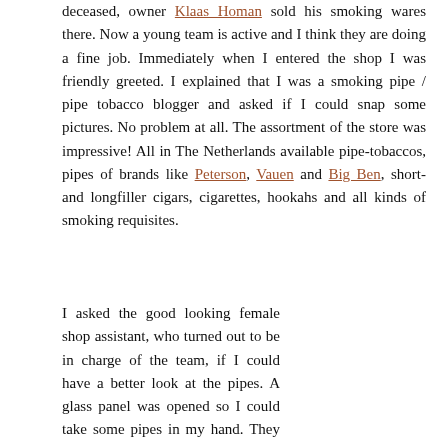deceased, owner Klaas Homan sold his smoking wares there. Now a young team is active and I think they are doing a fine job. Immediately when I entered the shop I was friendly greeted. I explained that I was a smoking pipe / pipe tobacco blogger and asked if I could snap some pictures. No problem at all. The assortment of the store was impressive! All in The Netherlands available pipe-tobaccos, pipes of brands like Peterson, Vauen and Big Ben, short- and longfiller cigars, cigarettes, hookahs and all kinds of smoking requisites.
I asked the good looking female shop assistant, who turned out to be in charge of the team, if I could have a better look at the pipes. A glass panel was opened so I could take some pipes in my hand. They had some nice Petersons but I managed to restrain myself. I asked the girl what her best selling pipes were. "Surprisingly not Big Ben (a Dutch brand of course) but Vauen is our high seller." We walked towards the pipe-tobacco corner and she expressed that she was sad that the Scandinavian Tobacco Group are discontinuing several brands. "We have many
[Figure (photo): A hand holding a tin of Rode Ster pipe tobacco. The tin is white with red star design and red text reading KOOKTABAR and RODE STER.]
Rode Ster